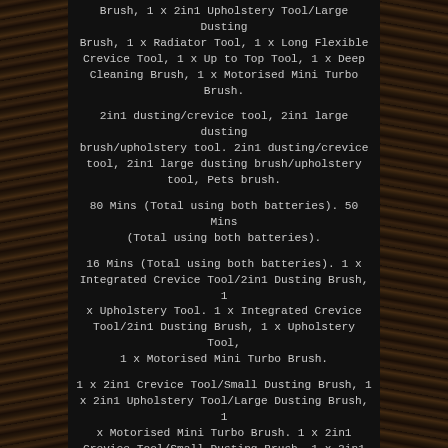Brush, 1 x 2in1 Upholstery Tool/Large Dusting Brush, 1 x Radiator Tool, 1 x Long Flexible Crevice Tool, 1 x Up to Top Tool, 1 x Deep Cleaning Brush, 1 x Motorised Mini Turbo Brush.
2in1 dusting/crevice tool, 2in1 large dusting brush/upholstery tool. 2in1 dusting/crevice tool, 2in1 large dusting brush/upholstery tool, Pets brush.
80 Mins (Total using both batteries). 50 Mins (Total using both batteries).
16 Mins (Total using both batteries). 1 x Integrated Crevice Tool/2in1 Dusting Brush, 1 x Upholstery Tool. 1 x Integrated Crevice Tool/2in1 Dusting Brush, 1 x Upholstery Tool, 1 x Motorised Mini Turbo Brush.
1 x 2in1 Crevice Tool/Small Dusting Brush, 1 x 2in1 Upholstery Tool/Large Dusting Brush, 1 x Motorised Mini Turbo Brush. 1 x 2in1 Crevice Tool/Small Dusting Brush, 1 x 2in1 Upholstery Tool/Large Dusting Brush, 1 x Motorised Mini Turbo Brush, 1 x Radiator Tool, 1 x Long Flexible Crevice Tool, 1 x Up-to-Top Tool, 1 x Deep Cleaning Brush.
1 x Large 2in1 Dusting Brush/Upholstery Tool. 1 x Mini 2in1 Dusting Brush/Crevice Tool. 1 x